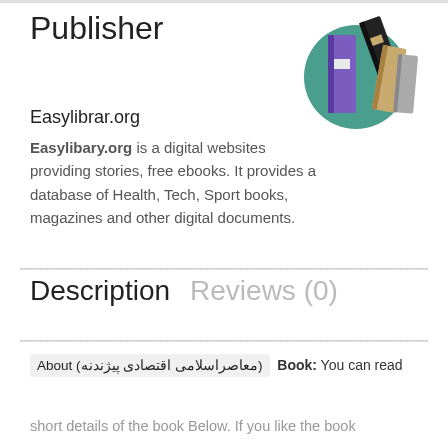Publisher
[Figure (illustration): Illustration of stacked colorful books icon — purple, black, beige books on a teal circular background]
Easylibrar.org
Easylibary.org is a digital websites providing stories, free ebooks. It provides a database of Health, Tech, Sport books, magazines and other digital documents.
Description   Reviews (0)
About (معاصراسلامی اقتصادی پیژندنه) Book: You can read short details of the book Below. If you like the book